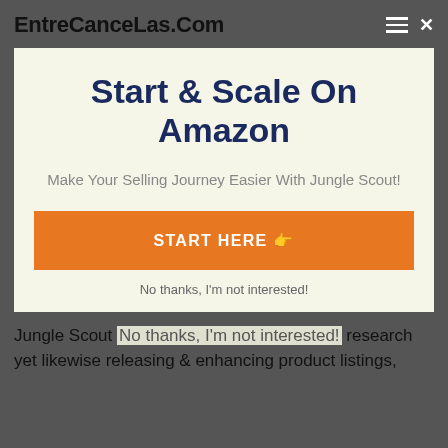EntreCanceLas.Com
Start & Scale On Amazon
Make Your Selling Journey Easier With Jungle Scout!
START HERE 👉
No thanks, I'm not interested!
Jungle Scout Not only the research yet likewise releasing & enhancing product listings,